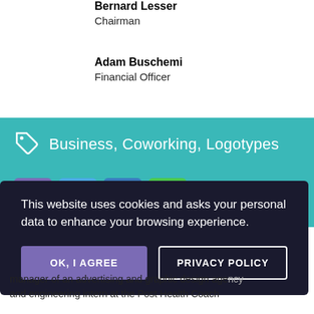Bernard Lesser
Chairman
Adam Buschemi
Financial Officer
[Figure (infographic): Teal banner with tag icon and text 'Business, Coworking, Logotypes', with social media share buttons below (Facebook, Twitter, LinkedIn, WhatsApp)]
This website uses cookies and asks your personal data to enhance your browsing experience.
OK, I AGREE | PRIVACY POLICY
manager of an advertising and graphic design agency and engineering intern at the Post Health Coach